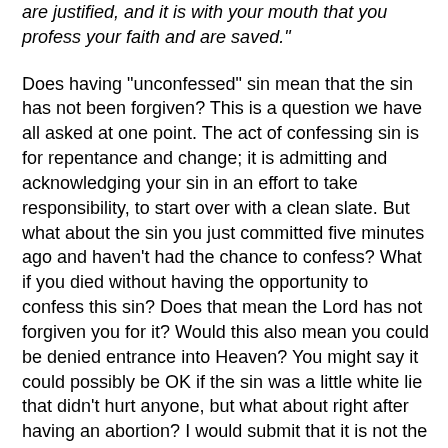are justified, and it is with your mouth that you profess your faith and are saved."
Does having "unconfessed" sin mean that the sin has not been forgiven? This is a question we have all asked at one point. The act of confessing sin is for repentance and change; it is admitting and acknowledging your sin in an effort to take responsibility, to start over with a clean slate. But what about the sin you just committed five minutes ago and haven't had the chance to confess? What if you died without having the opportunity to confess this sin? Does that mean the Lord has not forgiven you for it? Would this also mean you could be denied entrance into Heaven? You might say it could possibly be OK if the sin was a little white lie that didn't hurt anyone, but what about right after having an abortion? I would submit that it is not the act of confession alone that allows your sins to be forgiven; it is your faith in the Lord Jesus Christ.
There were four men who brought a paralytic to Jesus for healing. They lowered the man through the roof to present him for the opportunity. The words in the Bible right after that did not reveal a healing miracle at first. In fact, Jesus saw the